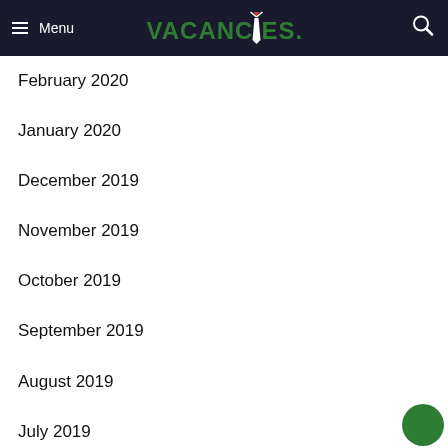Menu | VACANCIES.NG
February 2020
January 2020
December 2019
November 2019
October 2019
September 2019
August 2019
July 2019
June 2019
May 2019
April 2019
March 2019